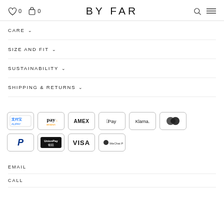BY FAR
CARE
SIZE AND FIT
SUSTAINABILITY
SHIPPING & RETURNS
[Figure (logo): Payment method icons: Alipay, Amazon Pay, AMEX, Apple Pay, Klarna, Mastercard, PayPal, UnionPay, VISA, WeChat Pay]
EMAIL
CALL